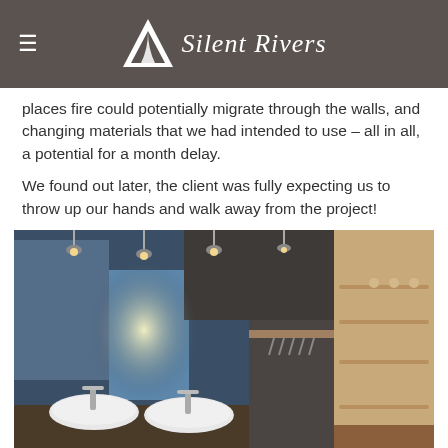Silent Rivers
places fire could potentially migrate through the walls, and changing materials that we had intended to use – all in all, a potential for a month delay.
We found out later, the client was fully expecting us to throw up our hands and walk away from the project!
[Figure (photo): Interior photo showing a bathroom with two white vessel sinks on the left and a closet/wardrobe area on the right, with track lighting on the ceiling.]